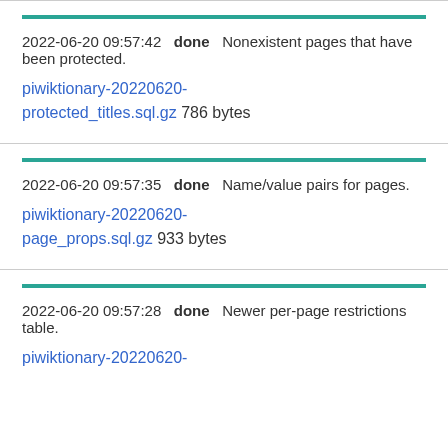2022-06-20 09:57:42  done  Nonexistent pages that have been protected.
piwiktionary-20220620-protected_titles.sql.gz 786 bytes
2022-06-20 09:57:35  done  Name/value pairs for pages.
piwiktionary-20220620-page_props.sql.gz 933 bytes
2022-06-20 09:57:28  done  Newer per-page restrictions table.
piwiktionary-20220620-